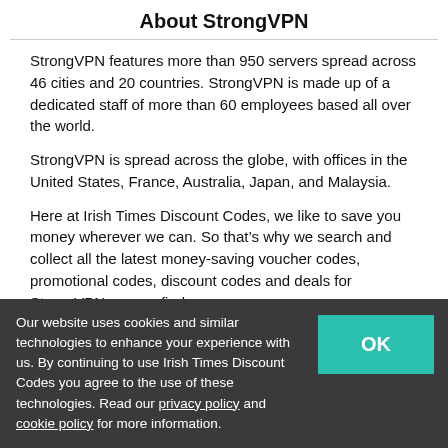About StrongVPN
StrongVPN features more than 950 servers spread across 46 cities and 20 countries. StrongVPN is made up of a dedicated staff of more than 60 employees based all over the world.
StrongVPN is spread across the globe, with offices in the United States, France, Australia, Japan, and Malaysia.
Here at Irish Times Discount Codes, we like to save you money wherever we can. So that’s why we search and collect all the latest money-saving voucher codes, promotional codes, discount codes and deals for StrongVPN we can find.
Irish Times Discount Codes are here to help you stretch your money a little bit further. So before you head over
Our website uses cookies and similar technologies to enhance your experience with us. By continuing to use Irish Times Discount Codes you agree to the use of these technologies. Read our privacy policy and cookie policy for more information.